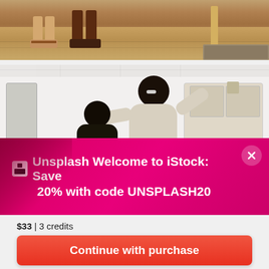[Figure (photo): Cropped photo showing people's legs and feet standing on a wood floor, with a wooden table leg and rug visible in the background]
[Figure (photo): Photo of a smiling Black man sitting in a living room with family members around him, bright interior setting]
🟥 Unsplash  Welcome to iStock: Save 20% with code UNSPLASH20
$33 | 3 credits
Continue with purchase